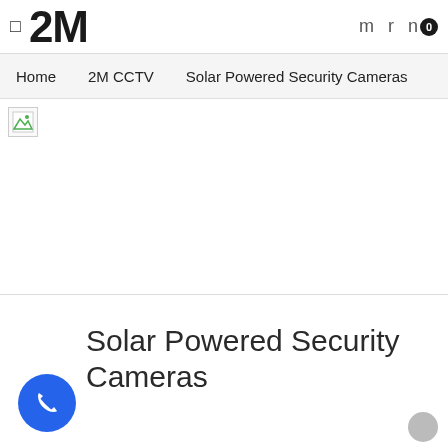2M | m r n 0
Home  2M CCTV  Solar Powered Security Cameras
[Figure (photo): Broken/unloaded banner image placeholder for Solar Powered Security Cameras]
Solar Powered Security Cameras